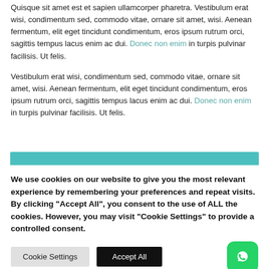Quisque sit amet est et sapien ullamcorper pharetra. Vestibulum erat wisi, condimentum sed, commodo vitae, ornare sit amet, wisi. Aenean fermentum, elit eget tincidunt condimentum, eros ipsum rutrum orci, sagittis tempus lacus enim ac dui. Donec non enim in turpis pulvinar facilisis. Ut felis.
Vestibulum erat wisi, condimentum sed, commodo vitae, ornare sit amet, wisi. Aenean fermentum, elit eget tincidunt condimentum, eros ipsum rutrum orci, sagittis tempus lacus enim ac dui. Donec non enim in turpis pulvinar facilisis. Ut felis.
[Figure (other): Teal/turquoise colored banner bar]
We use cookies on our website to give you the most relevant experience by remembering your preferences and repeat visits. By clicking "Accept All", you consent to the use of ALL the cookies. However, you may visit "Cookie Settings" to provide a controlled consent.
Cookie Settings | Accept All